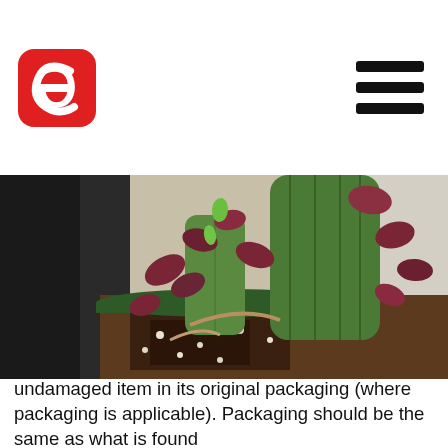[Figure (logo): Red rounded square logo with a white backwards 'E' or epsilon symbol inside]
[Figure (photo): Close-up photograph of a succulent or cactus plant in a green pot with dark soil and perlite, showing thick green stems with small reddish-purple leaves sprouting; additional black plastic pots visible in the background on a concrete surface]
undamaged item in its original packaging (where packaging is applicable). Packaging should be the same as what is found